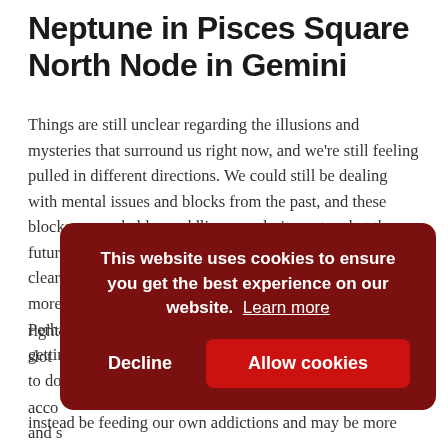Neptune in Pisces Square North Node in Gemini
Things are still unclear regarding the illusions and mysteries that surround us right now, and we're still feeling pulled in different directions. We could still be dealing with mental issues and blocks from the past, and these blocks are probably muddling our clarity as to what the future should be. We can also find ourselves unable to clearly express what we want to say right now, relying more on wishful thinking that may or may not be helpful. Perhaps our own imaginations and daydreaming are getting in the way of what we need to do, or what we want to do right now, and we may be more prone to addi... slot... acco... and s... whe...
instead be feeding our own addictions and may be more...
This website uses cookies to ensure you get the best experience on our website. Learn more
Decline | Allow cookies